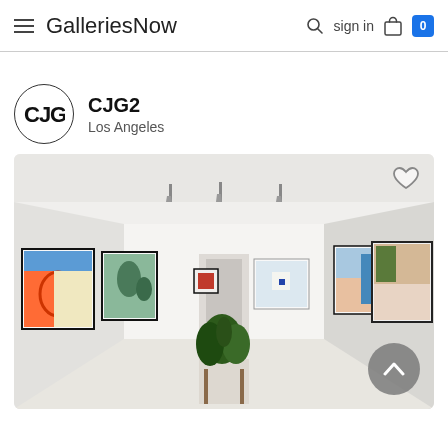GalleriesNow  sign in  0
[Figure (logo): CJG2 gallery circular logo with CJG lettering]
CJG2
Los Angeles
[Figure (photo): Interior of a white-walled art gallery showing multiple colorful paintings hung on walls, a potted plant on a pedestal in the center, track lighting overhead, with a heart/favorite icon and a back-to-top button overlay]